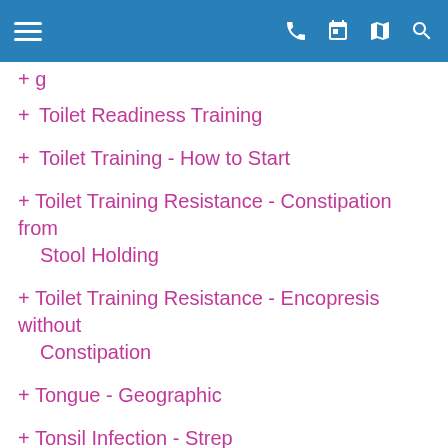[Navigation bar with hamburger menu, phone, calendar, map, and search icons]
+ Toilet Readiness Training
+ Toilet Training - How to Start
+ Toilet Training Resistance - Constipation from Stool Holding
+ Toilet Training Resistance - Encopresis without Constipation
+ Tongue - Geographic
+ Tonsil Infection - Strep
+ Tonsil Infection - Viral
+ Tooth Injury